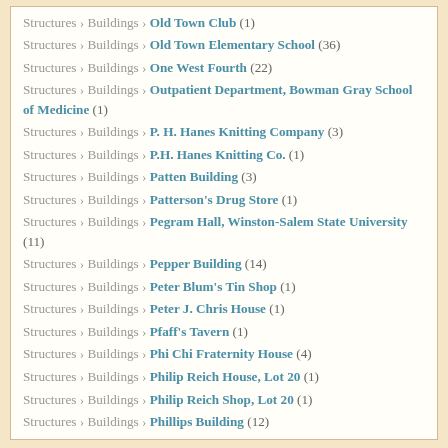Structures › Buildings › Old Town Club (1)
Structures › Buildings › Old Town Elementary School (36)
Structures › Buildings › One West Fourth (22)
Structures › Buildings › Outpatient Department, Bowman Gray School of Medicine (1)
Structures › Buildings › P. H. Hanes Knitting Company (3)
Structures › Buildings › P.H. Hanes Knitting Co. (1)
Structures › Buildings › Patten Building (3)
Structures › Buildings › Patterson's Drug Store (1)
Structures › Buildings › Pegram Hall, Winston-Salem State University (11)
Structures › Buildings › Pepper Building (14)
Structures › Buildings › Peter Blum's Tin Shop (1)
Structures › Buildings › Peter J. Chris House (1)
Structures › Buildings › Pfaff's Tavern (1)
Structures › Buildings › Phi Chi Fraternity House (4)
Structures › Buildings › Philip Reich House, Lot 20 (1)
Structures › Buildings › Philip Reich Shop, Lot 20 (1)
Structures › Buildings › Phillips Building (12)
Structures › Buildings › Phillips Stone (1)
Structures › Buildings › Phoenix Hotel (4)
Structures › Buildings › Plow and Plant Building (?)